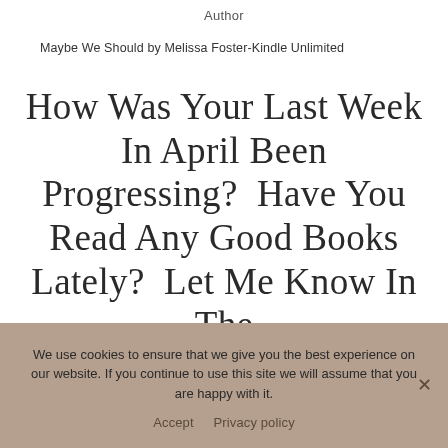Author
Maybe We Should by Melissa Foster-Kindle Unlimited
How Was Your Last Week In April Been Progressing?  Have You Read Any Good Books Lately?  Let Me Know In The
We use cookies to ensure that we give you the best experience on our website. If you continue to use this site we will assume that you are happy with it.
Accept  Privacy policy